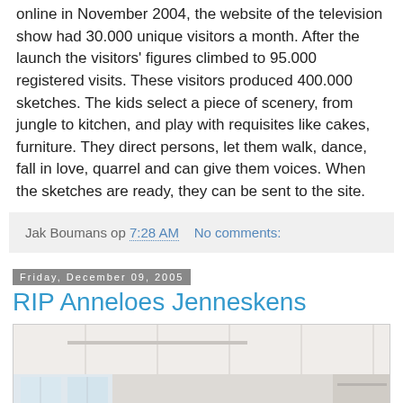online in November 2004, the website of the television show had 30.000 unique visitors a month. After the launch the visitors' figures climbed to 95.000 registered visits. These visitors produced 400.000 sketches. The kids select a piece of scenery, from jungle to kitchen, and play with requisites like cakes, furniture. They direct persons, let them walk, dance, fall in love, quarrel and can give them voices. When the sketches are ready, they can be sent to the site.
Jak Boumans op 7:28 AM   No comments:
Friday, December 09, 2005
RIP Anneloes Jenneskens
[Figure (photo): Interior room photograph showing white walls, ceiling with lighting tracks, large windows on the left letting in light, and built-in shelving on the right side.]